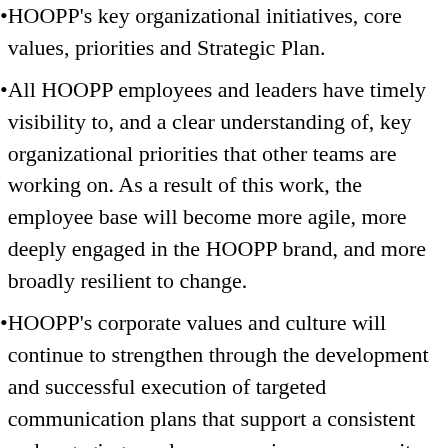HOOPP’s key organizational initiatives, core values, priorities and Strategic Plan.
All HOOPP employees and leaders have timely visibility to, and a clear understanding of, key organizational priorities that other teams are working on. As a result of this work, the employee base will become more agile, more deeply engaged in the HOOPP brand, and more broadly resilient to change.
HOOPP’s corporate values and culture will continue to strengthen through the development and successful execution of targeted communication plans that support a consistent and engaging employee experience, even as its